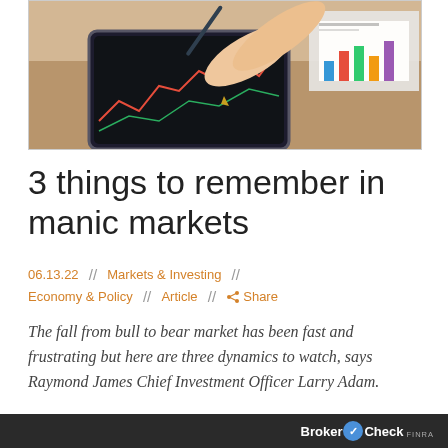[Figure (photo): A hand holding a pen/stylus writing or drawing on a tablet device displaying a financial chart, with printed charts and graphs visible in the background on a desk.]
3 things to remember in manic markets
06.13.22  //  Markets & Investing  //  Economy & Policy  //  Article  //  Share
The fall from bull to bear market has been fast and frustrating but here are three dynamics to watch, says Raymond James Chief Investment Officer Larry Adam.
BrokerCheck FINRA